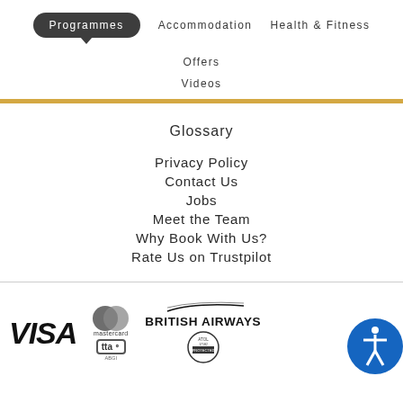Programmes  Accommodation  Health & Fitness  Offers
Videos
Glossary
Privacy Policy
Contact Us
Jobs
Meet the Team
Why Book With Us?
Rate Us on Trustpilot
[Figure (logo): VISA logo, Mastercard logo, TTA logo, British Airways logo with ATOL Protected badge, and accessibility icon]